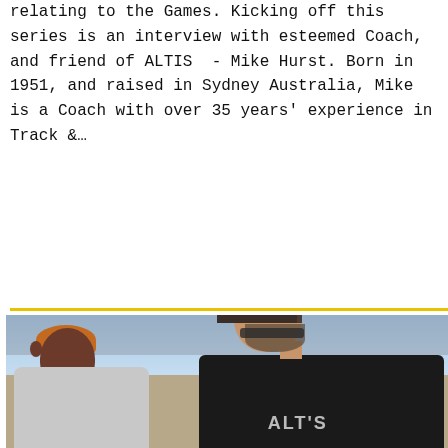relating to the Games. Kicking off this series is an interview with esteemed Coach, and friend of ALTIS  - Mike Hurst. Born in 1951, and raised in Sydney Australia, Mike is a Coach with over 35 years' experience in Track &...
READ MORE
[Figure (photo): A coach wearing a dark cap and sunglasses speaking to a young athlete with orange/brown hair outdoors near a chain-link fence, with desert vegetation in the background.]